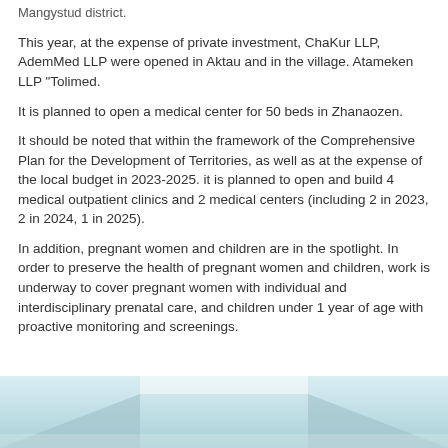Mangystud district.
This year, at the expense of private investment, ChaKur LLP, AdemMed LLP were opened in Aktau and in the village. Atameken LLP "Tolimed.
It is planned to open a medical center for 50 beds in Zhanaozen.
It should be noted that within the framework of the Comprehensive Plan for the Development of Territories, as well as at the expense of the local budget in 2023-2025. it is planned to open and build 4 medical outpatient clinics and 2 medical centers (including 2 in 2023, 2 in 2024, 1 in 2025).
In addition, pregnant women and children are in the spotlight. In order to preserve the health of pregnant women and children, work is underway to cover pregnant women with individual and interdisciplinary prenatal care, and children under 1 year of age with proactive monitoring and screenings.
[Figure (photo): Interior photo of a medical facility hallway with light blue/white ceiling and walls]